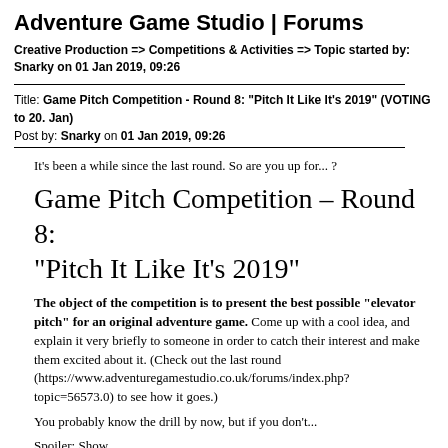Adventure Game Studio | Forums
Creative Production => Competitions & Activities => Topic started by: Snarky on 01 Jan 2019, 09:26
Title: Game Pitch Competition - Round 8: "Pitch It Like It's 2019" (VOTING to 20. Jan)
Post by: Snarky on 01 Jan 2019, 09:26
It's been a while since the last round. So are you up for... ?
Game Pitch Competition – Round 8: "Pitch It Like It's 2019"
The object of the competition is to present the best possible "elevator pitch" for an original adventure game. Come up with a cool idea, and explain it very briefly to someone in order to catch their interest and make them excited about it. (Check out the last round (https://www.adventuregamestudio.co.uk/forums/index.php?topic=56573.0) to see how it goes.)
You probably know the drill by now, but if you don't...
Spoiler: Show